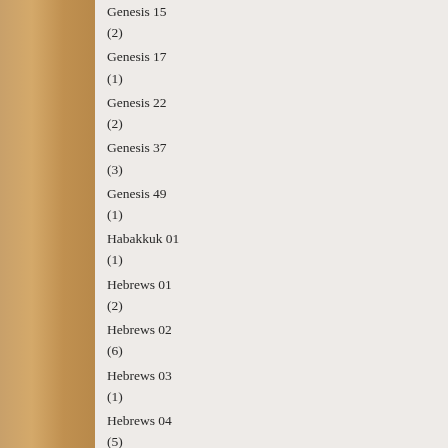Genesis 15 (2)
Genesis 17 (1)
Genesis 22 (2)
Genesis 37 (3)
Genesis 49 (1)
Habakkuk 01 (1)
Hebrews 01 (2)
Hebrews 02 (6)
Hebrews 03 (1)
Hebrews 04 (5)
Hebrews 05 (4)
Hebrews 06 (1)
Hebrews 07 (3)
Hebrews 08 (1)
Hebrews 09 (3)
Hebrews 10 (7)
Hebrews 11 (1)
Hebrews 12 (1)
Hosea 02 (1)
Hosea 06 (2)
Hosea 08 (1)
Hosea 10 (1)